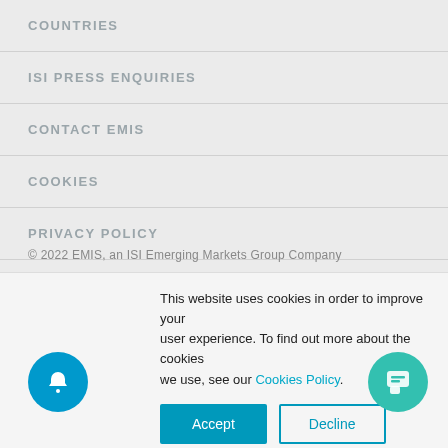COUNTRIES
ISI PRESS ENQUIRIES
CONTACT EMIS
COOKIES
PRIVACY POLICY
TERMS
© 2022 EMIS, an ISI Emerging Markets Group Company
This website uses cookies in order to improve your user experience. To find out more about the cookies we use, see our Cookies Policy.